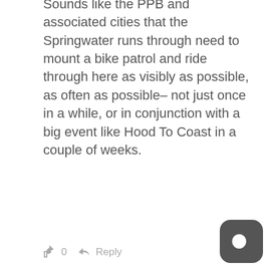Sounds like the PPB and associated cities that the Springwater runs through need to mount a bike patrol and ride through here as visibly as possible, as often as possible– not just once in a while, or in conjunction with a big event like Hood To Coast in a couple of weeks.
0  Reply
[Figure (illustration): Circular user avatar with a dark purple/maroon snowflake or star pattern on white background]
J_R  6 years ago  Reply to KristenT
My daughter will be running in the Hood to Coast. My wife will be a volunteer at one of the transfer points on the Springwater corridor at night. I've written to the mayor asking for increased police presense during the